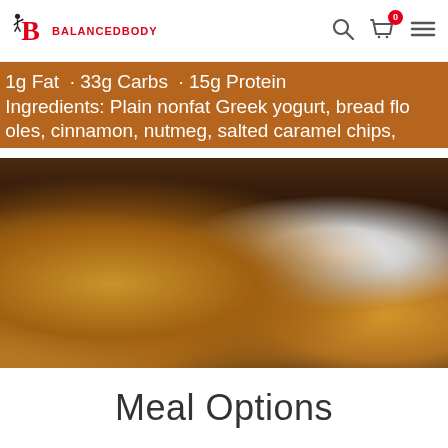BALANCEDBODY
1g Fat · 33g Carbs · 15g Protein
Ingredients: Plain nonfat Greek yogurt, bread flo... oles, cinnamon, nutmeg, salted caramel chips,
[Figure (photo): Close-up photo of food ingredients showing ground spices (cinnamon/nutmeg) and what appears to be caramel chips]
Meal Options